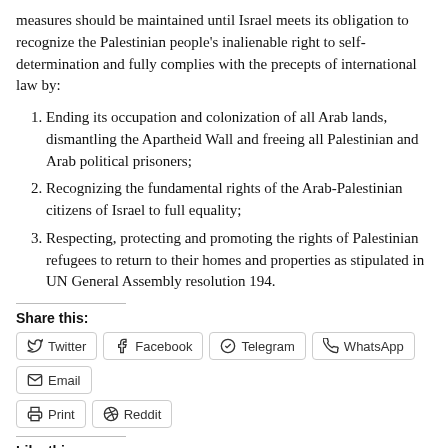measures should be maintained until Israel meets its obligation to recognize the Palestinian people's inalienable right to self-determination and fully complies with the precepts of international law by:
Ending its occupation and colonization of all Arab lands, dismantling the Apartheid Wall and freeing all Palestinian and Arab political prisoners;
Recognizing the fundamental rights of the Arab-Palestinian citizens of Israel to full equality;
Respecting, protecting and promoting the rights of Palestinian refugees to return to their homes and properties as stipulated in UN General Assembly resolution 194.
Share this:
Twitter Facebook Telegram WhatsApp Email Print Reddit
Like this:
Loading...